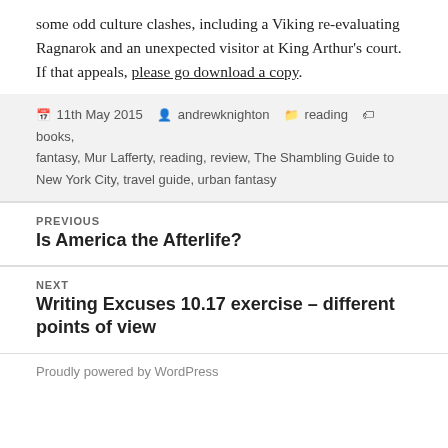some odd culture clashes, including a Viking re-evaluating Ragnarok and an unexpected visitor at King Arthur's court. If that appeals, please go download a copy.
11th May 2015  andrewknighton  reading  books, fantasy, Mur Lafferty, reading, review, The Shambling Guide to New York City, travel guide, urban fantasy
PREVIOUS
Is America the Afterlife?
NEXT
Writing Excuses 10.17 exercise – different points of view
Proudly powered by WordPress